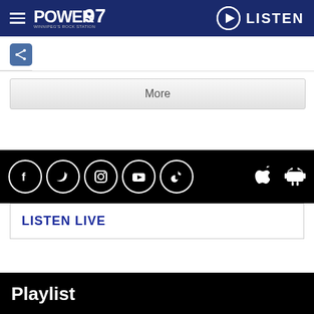POWER 97 — WINNIPEG'S ROCK STATION | LISTEN
[Figure (screenshot): Share icon button (blue square with network share symbol)]
More
[Figure (infographic): Social media icons row: Facebook, Twitter, Instagram, YouTube, TikTok, Apple App Store, Google Play]
LISTEN LIVE
Playlist
ZZ TOP
GIMME ALL YOUR LOVIN'
07:46AM